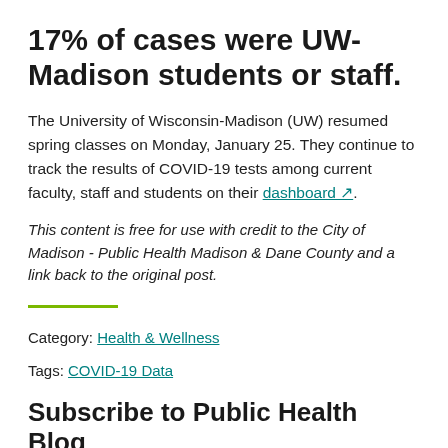17% of cases were UW-Madison students or staff.
The University of Wisconsin-Madison (UW) resumed spring classes on Monday, January 25. They continue to track the results of COVID-19 tests among current faculty, staff and students on their dashboard ↗.
This content is free for use with credit to the City of Madison - Public Health Madison & Dane County and a link back to the original post.
Category: Health & Wellness
Tags: COVID-19 Data
Subscribe to Public Health Blog